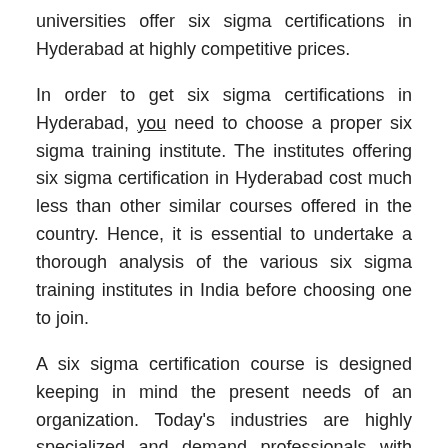universities offer six sigma certifications in Hyderabad at highly competitive prices.
In order to get six sigma certifications in Hyderabad, you need to choose a proper six sigma training institute. The institutes offering six sigma certification in Hyderabad cost much less than other similar courses offered in the country. Hence, it is essential to undertake a thorough analysis of the various six sigma training institutes in India before choosing one to join.
A six sigma certification course is designed keeping in mind the present needs of an organization. Today's industries are highly specialized and demand professionals with skill sets that are specific to their jobs. In order to achieve success in a company, all levels of employees must be trained properly. This requires professionals who possess both general and specific skill sets.
A six sigma certification course in Hyderabad cost effective